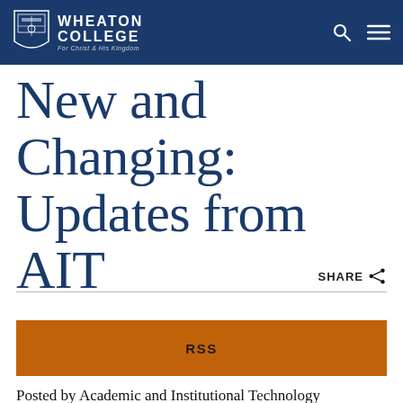Wheaton College — For Christ and His Kingdom
New and Changing: Updates from AIT
SHARE
[Figure (other): RSS orange button]
Posted by Academic and Institutional Technology